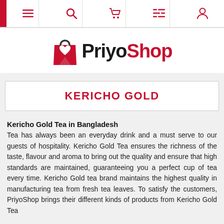PriyoShop navigation bar with menu, search, cart, list, and user icons
[Figure (logo): PriyoShop logo: red shopping bag with heart, text 'PriyoShop' in black and red]
KERICHO GOLD
Kericho Gold Tea in Bangladesh
Tea has always been an everyday drink and a must serve to our guests of hospitality. Kericho Gold Tea ensures the richness of the taste, flavour and aroma to bring out the quality and ensure that high standards are maintained, guaranteeing you a perfect cup of tea every time. Kericho Gold tea brand maintains the highest quality in manufacturing tea from fresh tea leaves. To satisfy the customers, PriyoShop brings their different kinds of products from Kericho Gold Tea